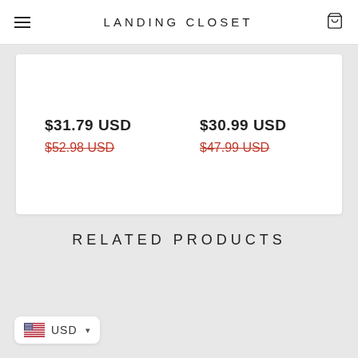LANDING CLOSET
$31.79 USD
$52.98 USD (strikethrough)
$30.99 USD
$47.99 USD (strikethrough)
RELATED PRODUCTS
USD (currency selector)